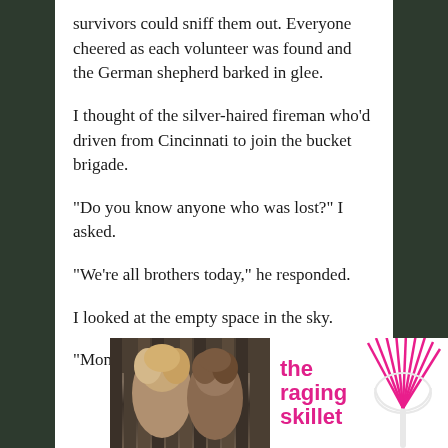survivors could sniff them out. Everyone cheered as each volunteer was found and the German shepherd barked in glee.
I thought of the silver-haired fireman who’d driven from Cincinnati to join the bucket brigade.
“Do you know anyone who was lost?” I asked.
“We’re all brothers today,” he responded.
I looked at the empty space in the sky.
“Monument to hope.”
[Figure (photo): Photo of women with curly hair, alongside an advertisement for 'the raging skillet' with a whisk illustration in pink]
the raging skillet